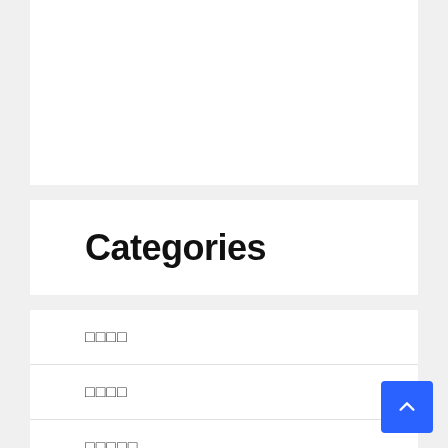[Figure (other): White rectangle placeholder box at the top of the page]
Categories
□□□□
□□□□
□□□□□